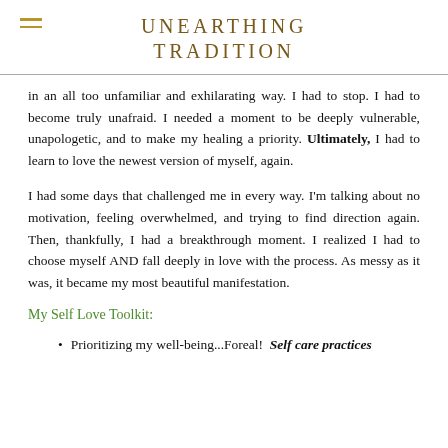UNEARTHING TRADITION
in an all too unfamiliar and exhilarating way. I had to stop. I had to become truly unafraid. I needed a moment to be deeply vulnerable, unapologetic, and to make my healing a priority. Ultimately, I had to learn to love the newest version of myself, again.
I had some days that challenged me in every way. I'm talking about no motivation, feeling overwhelmed, and trying to find direction again. Then, thankfully, I had a breakthrough moment. I realized I had to choose myself AND fall deeply in love with the process. As messy as it was, it became my most beautiful manifestation.
My Self Love Toolkit:
Prioritizing my well-being...Foreal! Self care practices